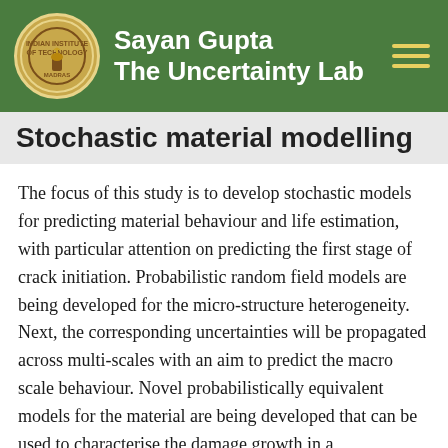Sayan Gupta
The Uncertainty Lab
Stochastic material modelling
The focus of this study is to develop stochastic models for predicting material behaviour and life estimation, with particular attention on predicting the first stage of crack initiation. Probabilistic random field models are being developed for the micro-structure heterogeneity. Next, the corresponding uncertainties will be propagated across multi-scales with an aim to predict the macro scale behaviour. Novel probabilistically equivalent models for the material are being developed that can be used to characterise the damage growth in a computationally efficient manner.